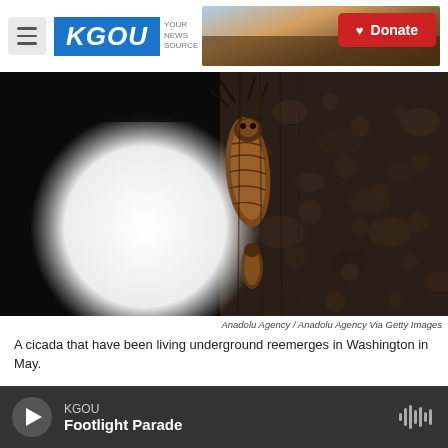KGOU — News Source — Donate
[Figure (photo): Close-up macro photograph of a cicada clinging to tree bark, with a large white circular light (possibly moon or lamp) in the background left, on a dark black background. The cicada's brown shell/exuvia is visible on a rough textured bark surface.]
Anadolu Agency / Anadolu Agency Via Getty Images
A cicada that have been living underground reemerges in Washington in May.
You were hoping it would be an isolated incident.
KGOU — Footlight Parade